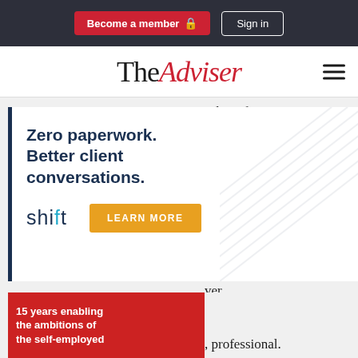Become a member  Sign in
TheAdviser
asking for something
e t is oo ad.
[Figure (infographic): Shift advertisement: Zero paperwork. Better client conversations. shift logo with LEARN MORE button]
ver 3-4 days to pick up a file and assess, & that lender is
[Figure (infographic): RedZed advertisement: 15 years enabling the ambitions of the self-employed. REDZED.COM with number 15]
professional.